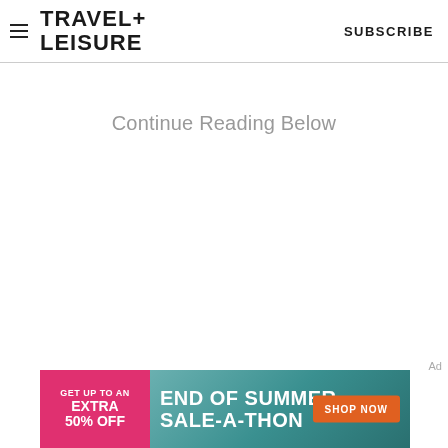TRAVEL+ LEISURE   SUBSCRIBE
Continue Reading Below
Ad
[Figure (infographic): Advertisement banner: pink left section reads 'GET UP TO AN EXTRA 50% OFF', teal/green right section reads 'END OF SUMMER SALE-A-THON' with an orange 'SHOP NOW' button]